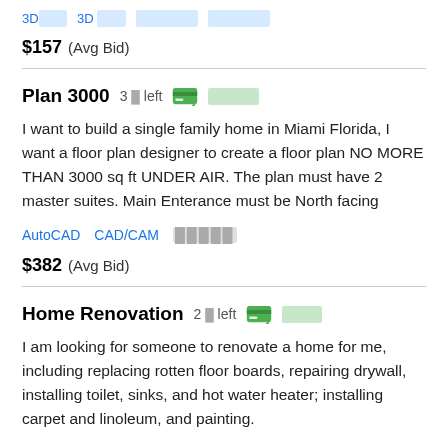3D███  3D ██  █████  █████
$157  (Avg Bid)
Plan 3000  3 █ left  ████
I want to build a single family home in Miami Florida, I want a floor plan designer to create a floor plan NO MORE THAN 3000 sq ft UNDER AIR. The plan must have 2 master suites. Main Enterance must be North facing
AutoCAD  CAD/CAM  █████
$382  (Avg Bid)
Home Renovation  2 █ left  ███
I am looking for someone to renovate a home for me, including replacing rotten floor boards, repairing drywall, installing toilet, sinks, and hot water heater; installing carpet and linoleum, and painting.